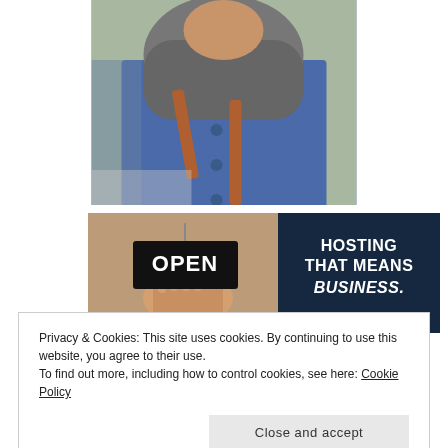[Figure (photo): Person wearing a blue knit cardigan with a brown crossbody bag strap, wearing a grey scarf/hijab, photographed from chest level outdoors.]
[Figure (photo): Advertisement banner showing a hand holding an OPEN sign on the left side, and dark navy background with white bold text reading HOSTING THAT MEANS BUSINESS. on the right side.]
Privacy & Cookies: This site uses cookies. By continuing to use this website, you agree to their use.
To find out more, including how to control cookies, see here: Cookie Policy
Close and accept